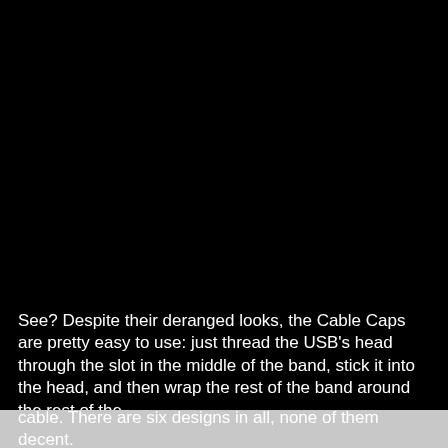[Figure (photo): A mostly black image, likely showing Cable Caps product in a dark setting. The upper portion of the page is entirely black.]
See? Despite their deranged looks, the Cable Caps are pretty easy to use: just thread the USB's head through the slot in the middle of the band, stick it into the head, and then wrap the rest of the band around the rest of the
cable. There are six designs in all, none of them decent.